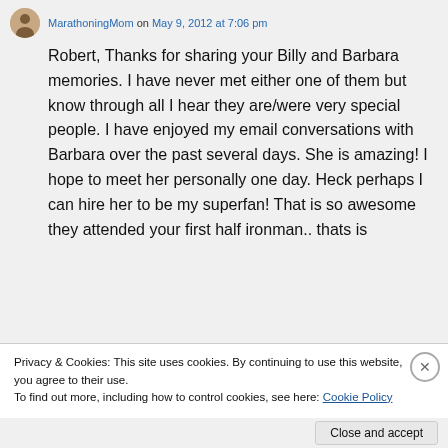MarathoningMom on May 9, 2012 at 7:06 pm
Robert, Thanks for sharing your Billy and Barbara memories. I have never met either one of them but know through all I hear they are/were very special people. I have enjoyed my email conversations with Barbara over the past several days. She is amazing! I hope to meet her personally one day. Heck perhaps I can hire her to be my superfan! That is so awesome they attended your first half ironman.. thats is
Privacy & Cookies: This site uses cookies. By continuing to use this website, you agree to their use.
To find out more, including how to control cookies, see here: Cookie Policy
Close and accept